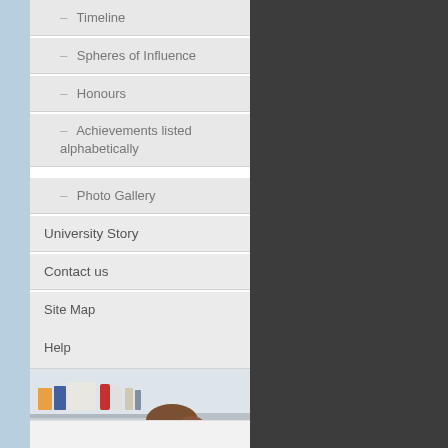- Timeline
- Spheres of Influence
- Honours
- Achievements listed alphabetically
- Photo Gallery
University Story
Contact us
Site Map
Help
[Figure (photo): A woman in a white lab coat working in a scientific laboratory, with shelves of bottles and lab equipment in the background.]